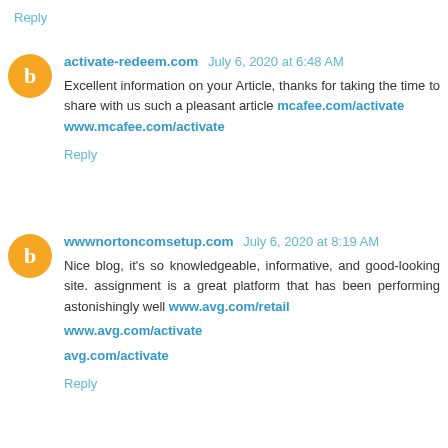Reply
activate-redeem.com  July 6, 2020 at 6:48 AM
Excellent information on your Article, thanks for taking the time to share with us such a pleasant article mcafee.com/activate www.mcafee.com/activate
Reply
wwwnortoncomsetup.com  July 6, 2020 at 8:19 AM
Nice blog, it's so knowledgeable, informative, and good-looking site. assignment is a great platform that has been performing astonishingly well www.avg.com/retail
www.avg.com/activate
avg.com/activate
Reply